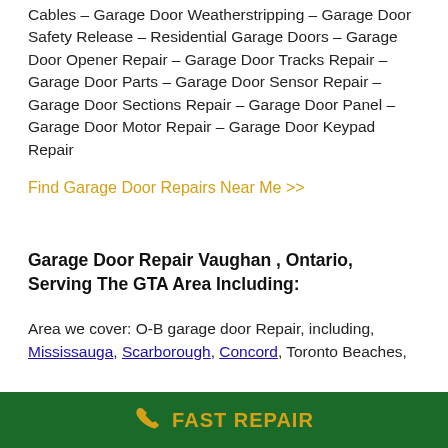Cables – Garage Door Weatherstripping – Garage Door Safety Release – Residential Garage Doors – Garage Door Opener Repair – Garage Door Tracks Repair – Garage Door Parts – Garage Door Sensor Repair – Garage Door Sections Repair – Garage Door Panel – Garage Door Motor Repair – Garage Door Keypad Repair
Find Garage Door Repairs Near Me >>
Garage Door Repair Vaughan , Ontario, Serving The GTA Area Including:
Area we cover: O-B garage door Repair, including, Mississauga, Scarborough, Concord, Toronto Beaches,
FAST REPAIR